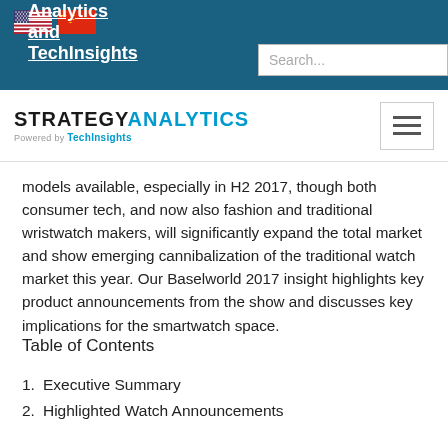Strategy Analytics and TechInsights
[Figure (logo): Strategy Analytics powered by TechInsights logo with hamburger menu button]
models available, especially in H2 2017, though both consumer tech, and now also fashion and traditional wristwatch makers, will significantly expand the total market and show emerging cannibalization of the traditional watch market this year. Our Baselworld 2017 insight highlights key product announcements from the show and discusses key implications for the smartwatch space.
Table of Contents
1.  Executive Summary
2.  Highlighted Watch Announcements